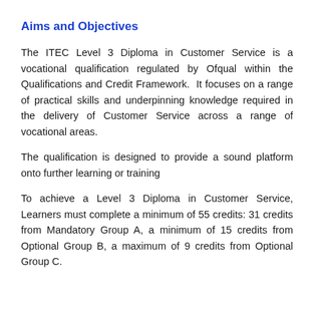Aims and Objectives
The ITEC Level 3 Diploma in Customer Service is a vocational qualification regulated by Ofqual within the Qualifications and Credit Framework.  It focuses on a range of practical skills and underpinning knowledge required in the delivery of Customer Service across a range of vocational areas.
The qualification is designed to provide a sound platform onto further learning or training
To achieve a Level 3 Diploma in Customer Service, Learners must complete a minimum of 55 credits: 31 credits from Mandatory Group A, a minimum of 15 credits from Optional Group B, a maximum of 9 credits from Optional Group C.